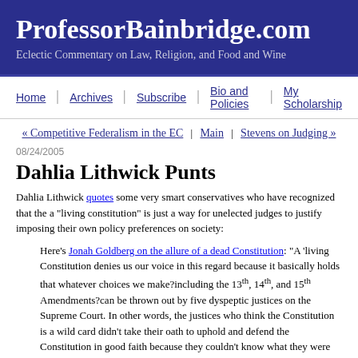ProfessorBainbridge.com
Eclectic Commentary on Law, Religion, and Food and Wine
Home | Archives | Subscribe | Bio and Policies | My Scholarship
« Competitive Federalism in the EC | Main | Stevens on Judging »
08/24/2005
Dahlia Lithwick Punts
Dahlia Lithwick quotes some very smart conservatives who have recognized that the a "living constitution" is just a way for unelected judges to justify imposing their own policy preferences on society:
Here's Jonah Goldberg on the allure of a dead Constitution: "A 'living Constitution denies us our voice in this regard because it basically holds that whatever choices we make—including the 13th, 14th, and 15th Amendments—can be thrown out by five dyspeptic justices on the Supreme Court. In other words, the justices who think the Constitution is a wild card didn't take their oath to uphold and defend the Constitution in good faith because they couldn't know what they were swearing to."
Goldberg goes on to quote Justice Antonin Scalia's dissent in the recent Te